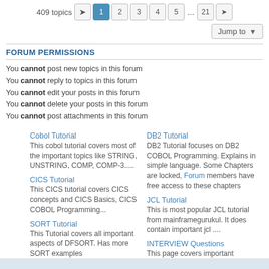409 topics  1 2 3 4 5 ... 21 >
Jump to
FORUM PERMISSIONS
You cannot post new topics in this forum
You cannot reply to topics in this forum
You cannot edit your posts in this forum
You cannot delete your posts in this forum
You cannot post attachments in this forum
Cobol Tutorial
This cobol tutorial covers most of the important topics like STRING, UNSTRING, COMP, COMP-3.....
DB2 Tutorial
DB2 Tutorial focuses on DB2 COBOL Programming. Explains in simple language. Some Chapters are locked, Forum members have free access to these chapters
CICS Tutorial
This CICS tutorial covers CICS concepts and CICS Basics, CICS COBOL Programming...
JCL Tutorial
This is most popular JCL tutorial from mainframegurukul. It does contain important jcl ....
SORT Tutorial
This Tutorial covers all important aspects of DFSORT. Has more SORT examples
INTERVIEW Questions
This page covers important interview questions
Mainframe Jobs
Mainframe Jobs posted by members of mainframegurukul forum
FaceBook Page
MainframeGurukul FaceBook Page
LinkedIn Page
MainframeGurkul Linkedin Page